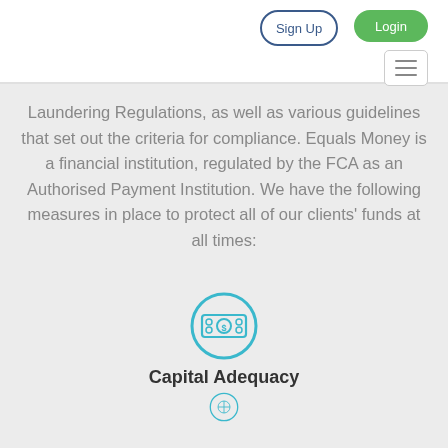Sign Up  Login
Laundering Regulations, as well as various guidelines that set out the criteria for compliance. Equals Money is a financial institution, regulated by the FCA as an Authorised Payment Institution. We have the following measures in place to protect all of our clients' funds at all times:
[Figure (illustration): Teal circular icon with a banknote/money symbol inside, labeled Capital Adequacy below it, and a second partially visible icon at the bottom]
Capital Adequacy